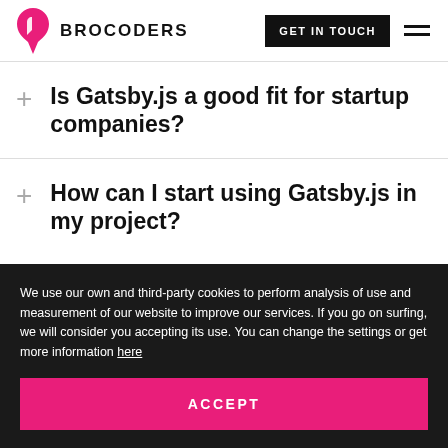BROCODERS — GET IN TOUCH
Is Gatsby.js a good fit for startup companies?
How can I start using Gatsby.js in my project?
We use our own and third-party cookies to perform analysis of use and measurement of our website to improve our services. If you go on surfing, we will consider you accepting its use. You can change the settings or get more information here
ACCEPT